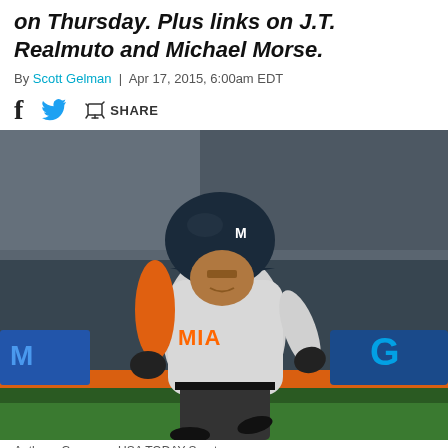on Thursday. Plus links on J.T. Realmuto and Michael Morse.
By Scott Gelman | Apr 17, 2015, 6:00am EDT
[Figure (photo): Miami Marlins player in gray MIAMI uniform and batting helmet running bases at a stadium]
Anthony Gruppuso-USA TODAY Sports